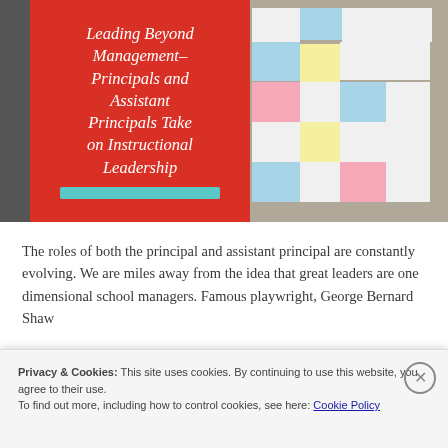[Figure (photo): Book cover 'Leading Beyond Management – Principals and Assistant Principals Take on Instructional Leadership' on a red panel, alongside a photo of sticky notes on a wall/board]
The roles of both the principal and assistant principal are constantly evolving. We are miles away from the idea that great leaders are one dimensional school managers. Famous playwright, George Bernard Shaw
Privacy & Cookies: This site uses cookies. By continuing to use this website, you agree to their use.
To find out more, including how to control cookies, see here: Cookie Policy